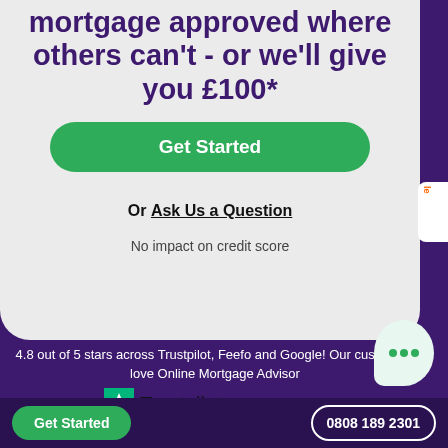mortgage approved where others can't - or we'll give you £100*
Get Started
Or Ask Us a Question
No impact on credit score
4.8 out of 5 stars across Trustpilot, Feefo and Google! Our customers love Online Mortgage Advisor
[Figure (logo): Trustpilot logo with green star and brand name, followed by 4.5 green stars rating row, Trust Score 4.2 | 147 Reviews]
Get Started
0808 189 2301